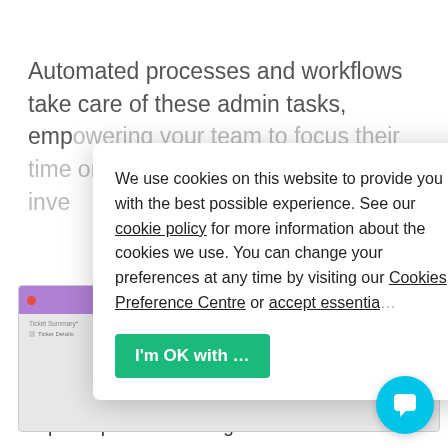Automated processes and workflows take care of these admin tasks, empowering your team to focus their time on inve
[Figure (screenshot): Background screenshot of a web application with purple header bar and form fields]
[Figure (screenshot): Cookie consent modal overlay with text: We use cookies on this website to provide you with the best possible experience. See our cookie policy for more information about the cookies we use. You can change your preferences at any time by visiting our Cookies Preference Centre or accept essentia... and a green button labeled I'm OK with]
[Figure (screenshot): Chat widget popup with Clearbit-style logo, close button, and text: Got any questions? We're happy to help.]
[Figure (screenshot): Teal chat bubble button in bottom right corner]
Automate your IT helpdesk to save time and improve problem solving